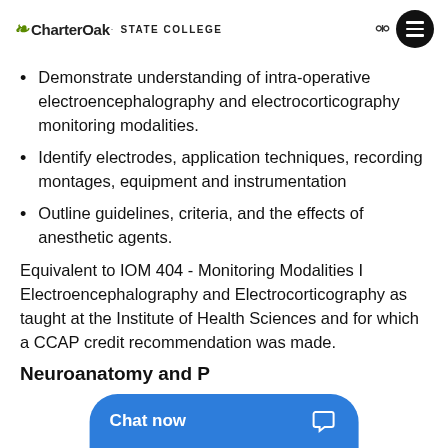CharterOak STATE COLLEGE
Demonstrate understanding of intra-operative electroencephalography and electrocorticography monitoring modalities.
Identify electrodes, application techniques, recording montages, equipment and instrumentation
Outline guidelines, criteria, and the effects of anesthetic agents.
Equivalent to IOM 404 - Monitoring Modalities I Electroencephalography and Electrocorticography as taught at the Institute of Health Sciences and for which a CCAP credit recommendation was made.
Neuroanatomy and P